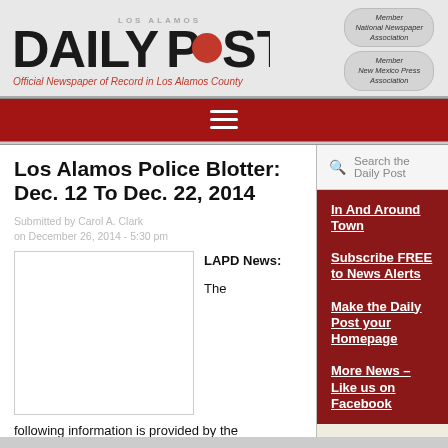Los Alamos Daily Post – Official Newspaper of Record in Los Alamos County
Los Alamos Police Blotter: Dec. 12 To Dec. 22, 2014
Submitted by Carol A. Clark on December 26, 2014 - 5:30 pm
[Figure (photo): LAPD News image placeholder]
LAPD News:

The following information is provided by the
In And Around Town
Subscribe FREE to News Alerts
Make the Daily Post your Homepage
More News – Like us on Facebook